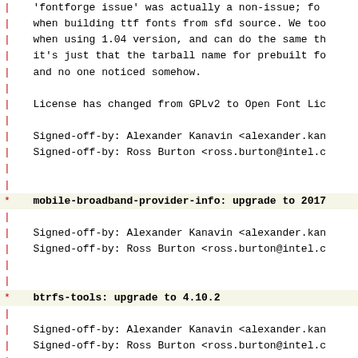'fontforge issue' was actually a non-issue; for when building ttf fonts from sfd source. We too when using 1.04 version, and can do the same th it's just that the tarball name for prebuilt fo and no one noticed somehow.
License has changed from GPLv2 to Open Font Lic
Signed-off-by: Alexander Kanavin <alexander.kan
Signed-off-by: Ross Burton <ross.burton@intel.c
* mobile-broadband-provider-info: upgrade to 2017
Signed-off-by: Alexander Kanavin <alexander.kan
Signed-off-by: Ross Burton <ross.burton@intel.c
* btrfs-tools: upgrade to 4.10.2
Signed-off-by: Alexander Kanavin <alexander.kan
Signed-off-by: Ross Burton <ross.burton@intel.c
* libpthread-stubs: upgrade to 0.4
Signed-off-by: Alexander Kanavin <alexander.kan
Signed-off-by: Ross Burton <ross.burton@intel.c